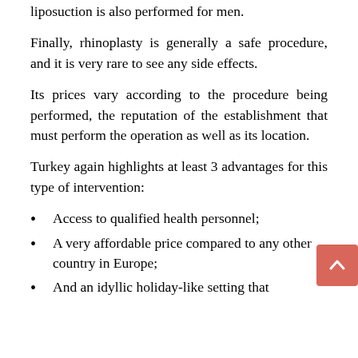liposuction is also performed for men.
Finally, rhinoplasty is generally a safe procedure, and it is very rare to see any side effects.
Its prices vary according to the procedure being performed, the reputation of the establishment that must perform the operation as well as its location.
Turkey again highlights at least 3 advantages for this type of intervention:
Access to qualified health personnel;
A very affordable price compared to any other country in Europe;
And an idyllic holiday-like setting that